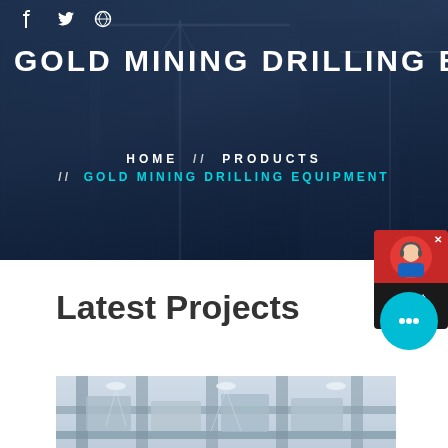[Figure (photo): Hero banner with construction site / building cranes background, dark blue overlay]
f  🐦  ⊕
GOLD MINING DRILLING EQUIP
HOME  //  PRODUCTS  //  GOLD MINING DRILLING EQUIPMENT
[Figure (screenshot): Chat Now widget with red header and dark body in top-right corner]
Latest Projects
[Figure (photo): Industrial/mining equipment photo at bottom of page]